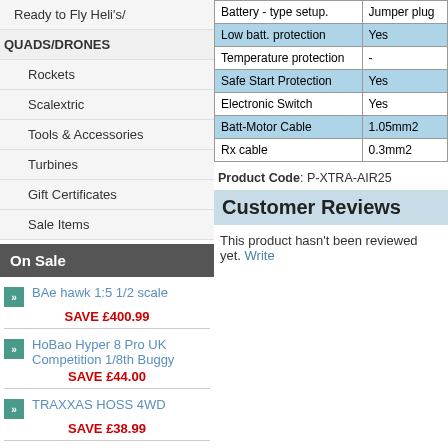Ready to Fly Heli's/
QUADS/DRONES
Rockets
Scalextric
Tools & Accessories
Turbines
Gift Certificates
Sale Items
On Sale
BAe hawk 1:5 1/2 scale
SAVE £400.99
HoBao Hyper 8 Pro UK Competition 1/8th Buggy
SAVE £44.00
TRAXXAS HOSS 4WD
SAVE £38.99
Flyeaglejet ARF PLUS
|  |  |
| --- | --- |
| Battery - type setup. | Jumper plug |
| Low batt. protection | Yes |
| Temperature protection | - |
| Safe Start Protection | Yes |
| Electronic Switch | Yes |
| Batt-Motor Cable | 1.05mm2 |
| Rx cable | 0.3mm2 |
Product Code: P-XTRA-AIR25
Customer Reviews
This product hasn't been reviewed yet. Write